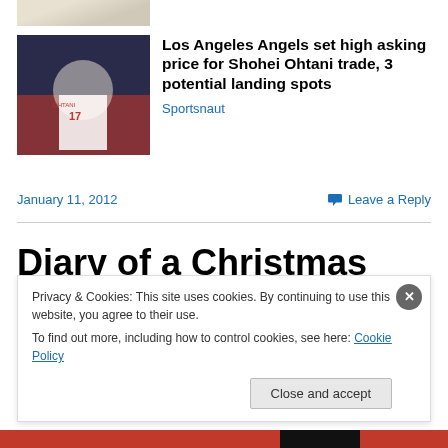[Figure (photo): Partial sports photo at top]
[Figure (photo): Photo of Shohei Ohtani (#17) pitching in Los Angeles Angels uniform]
Los Angeles Angels set high asking price for Shohei Ohtani trade, 3 potential landing spots
Sportsnaut
January 11, 2012
Leave a Reply
Diary of a Christmas Travel Nightmare
Privacy & Cookies: This site uses cookies. By continuing to use this website, you agree to their use.
To find out more, including how to control cookies, see here: Cookie Policy